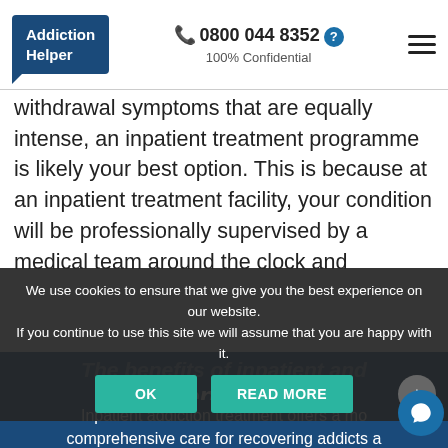Addiction Helper | 📞 0800 044 8352 | 100% Confidential
withdrawal symptoms that are equally intense, an inpatient treatment programme is likely your best option. This is because at an inpatient treatment facility, your condition will be professionally supervised by a medical team around the clock and medication can be administered if and when required to minimise withdrawal symptoms.
We use cookies to ensure that we give you the best experience on our website. If you continue to use this site we will assume that you are happy with it.
The benefits of inpatient and outpatient treatment
Inpatient addiction treatment offers a more comprehensive care for recovering addicts and greatly reduces the chances of suffering a relapse...